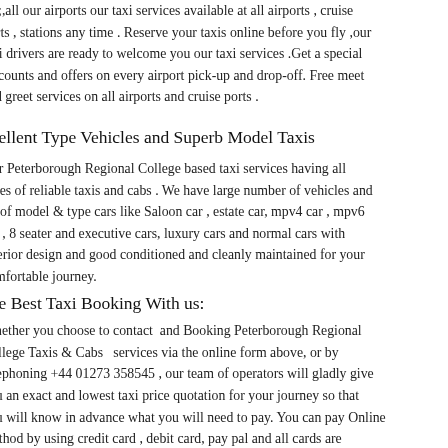ete;,all our airports our taxi services available at all airports , cruise ports , stations any time . Reserve your taxis online before you fly ,our taxi drivers are ready to welcome you our taxi services .Get a special discounts and offers on every airport pick-up and drop-off. Free meet and greet services on all airports and cruise ports .
Xcellent Type Vehicles and Superb Model Taxis
Our Peterborough Regional College based taxi services having all types of reliable taxis and cabs . We have large number of vehicles and lot of model & type cars like Saloon car , estate car, mpv4 car , mpv6 car , 8 seater and executive cars, luxury cars and normal cars with interior design and good conditioned and cleanly maintained for your comfortable journey.
Make Best Taxi Booking With us:
Whether you choose to contact and Booking Peterborough Regional College Taxis & Cabs services via the online form above, or by telephoning +44 01273 358545 , our team of operators will gladly give you an exact and lowest taxi price quotation for your journey so that you will know in advance what you will need to pay. You can pay Online method by using credit card , debit card, pay pal and all cards are accepted or you can give cash to the driver. We have 24 hours "Online